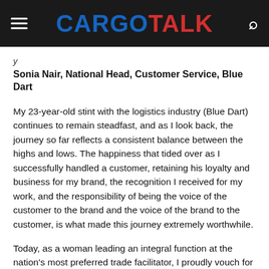CARGOTALK
Sonia Nair, National Head, Customer Service, Blue Dart
My 23-year-old stint with the logistics industry (Blue Dart) continues to remain steadfast, and as I look back, the journey so far reflects a consistent balance between the highs and lows. The happiness that tided over as I successfully handled a customer, retaining his loyalty and business for my brand, the recognition I received for my work, and the responsibility of being the voice of the customer to the brand and the voice of the brand to the customer, is what made this journey extremely worthwhile.
Today, as a woman leading an integral function at the nation's most preferred trade facilitator, I proudly vouch for the wonderful experience I have had in the industry. The industry has been